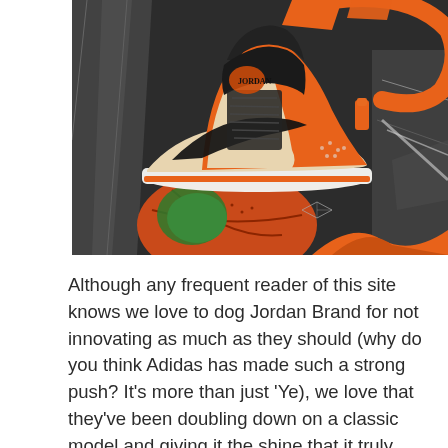[Figure (photo): An Air Jordan 1 sneaker in orange, white, and black colorway (Shattered Backboard style) displayed on a basketball, surrounded by geometric orange and reflective glass elements against a dark background.]
Although any frequent reader of this site knows we love to dog Jordan Brand for not innovating as much as they should (why do you think Adidas has made such a strong push? It’s more than just ‘Ye), we love that they’ve been doubling down on a classic model and giving it the shine that it truly